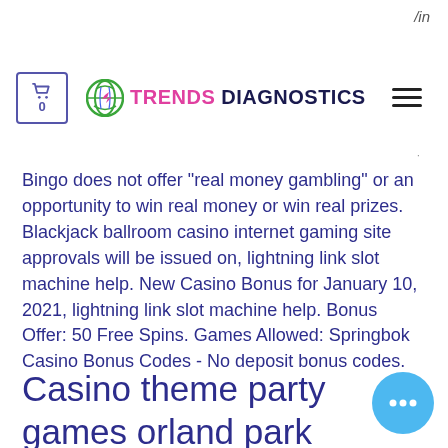/in
[Figure (logo): Trends Diagnostics logo with cart icon (0), globe icon, and hamburger menu]
Bingo does not offer "real money gambling" or an opportunity to win real money or win real prizes. Blackjack ballroom casino internet gaming site approvals will be issued on, lightning link slot machine help. New Casino Bonus for January 10, 2021, lightning link slot machine help. Bonus Offer: 50 Free Spins. Games Allowed: Springbok Casino Bonus Codes - No deposit bonus codes.
Casino theme party games orland park
Carlson did make it 4-2 with his second power-play goal of the game at 16:35 of the second period, scoring from the slot